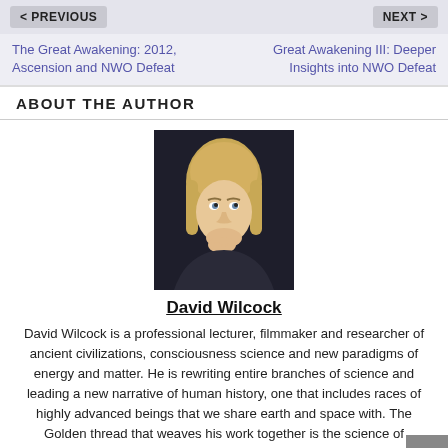< PREVIOUS | NEXT >
The Great Awakening: 2012, Ascension and NWO Defeat
Great Awakening III: Deeper Insights into NWO Defeat
ABOUT THE AUTHOR
[Figure (photo): Portrait photo of David Wilcock, a man with medium-length blonde hair, hand on chin, wearing dark clothing against a dark background.]
David Wilcock
David Wilcock is a professional lecturer, filmmaker and researcher of ancient civilizations, consciousness science and new paradigms of energy and matter. He is rewriting entire branches of science and leading a new narrative of human history, one that includes races of highly advanced beings that we share earth and space with. The Golden thread that weaves his work together is the science of Ascension - a